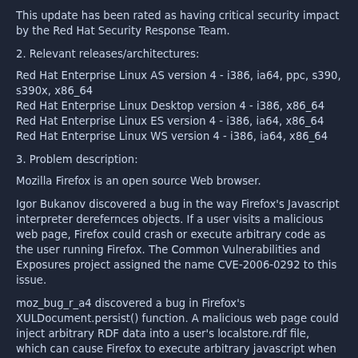This update has been rated as having critical security impact by the Red Hat Security Response Team.
2. Relevant releases/architectures:
Red Hat Enterprise Linux AS version 4 - i386, ia64, ppc, s390, s390x, x86_64
Red Hat Enterprise Linux Desktop version 4 - i386, x86_64
Red Hat Enterprise Linux ES version 4 - i386, ia64, x86_64
Red Hat Enterprise Linux WS version 4 - i386, ia64, x86_64
3. Problem description:
Mozilla Firefox is an open source Web browser.
Igor Bukanov discovered a bug in the way Firefox's Javascript interpreter derefernces objects.  If a user visits a malicious web page, Firefox could crash or execute arbitrary code as the user running Firefox. The Common Vulnerabilities and Exposures project assigned the name CVE-2006-0292 to this issue.
moz_bug_r_a4 discovered a bug in Firefox's XULDocument.persist() function. A malicious web page could inject arbitrary RDF data into a user's localstore.rdf file, which can cause Firefox to execute arbitrary javascript when a user runs Firefox.  (CVE-2006-0296)
A denial of service bug was found in the way Firefox saves history information. If a user visits a web page with a very long title, it is possible Firefox will crash or take a very long time the next time it is run. (CVE-2005-4134)
This update also fixes a bug when using XSLT to transform documents. Passing DOM Nodes as parameters to functions expecting an xsl:param could